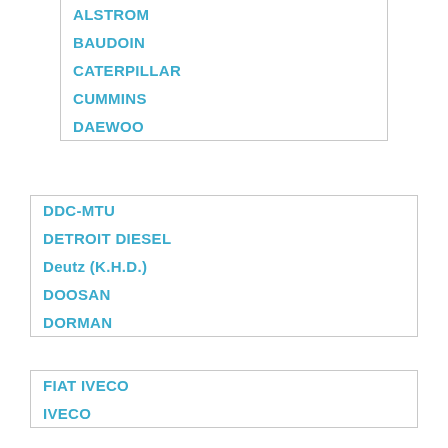ALSTROM
BAUDOIN
CATERPILLAR
CUMMINS
DAEWOO
DDC-MTU
DETROIT DIESEL
Deutz (K.H.D.)
DOOSAN
DORMAN
FIAT IVECO
IVECO